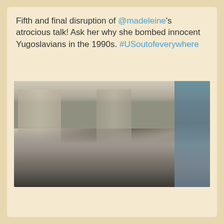Fifth and final disruption of @madeleine's atrocious talk! Ask her why she bombed innocent Yugoslavians in the 1990s. #USoutofeverywhere
[Figure (photo): A blurry, motion-blurred photo taken indoors showing a crowd of people seated in an auditorium or hall. The background shows architectural elements including pillars and a window or screen on the right with blue/teal tones. The image is heavily motion-blurred.]